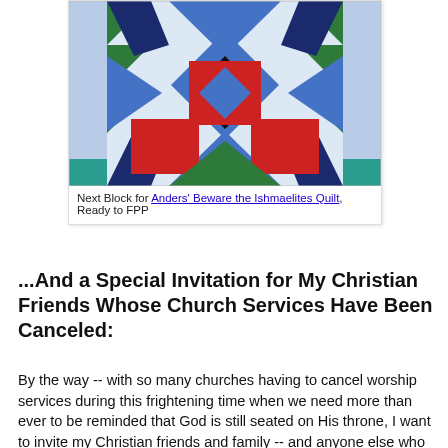[Figure (illustration): A quilt block pattern with geometric shapes in blue, dark navy, green, red, black, and teal arranged symmetrically on a light blue background.]
Next Block for Anders' Beware the Ishmaelites Quilt, Ready to FPP
...And a Special Invitation for My Christian Friends Whose Church Services Have Been Canceled:
By the way -- with so many churches having to cancel worship services during this frightening time when we need more than ever to be reminded that God is still seated on His throne, I want to invite my Christian friends and family -- and anyone else who could use an infusion of hope in these